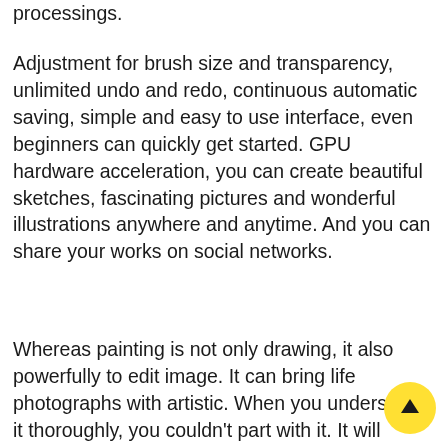processings.
Adjustment for brush size and transparency, unlimited undo and redo, continuous automatic saving, simple and easy to use interface, even beginners can quickly get started. GPU hardware acceleration, you can create beautiful sketches, fascinating pictures and wonderful illustrations anywhere and anytime. And you can share your works on social networks.
Whereas painting is not only drawing, it also powerfully to edit image. It can bring life photographs with artistic. When you understand it thoroughly, you couldn't part with it. It will become more and more powerful, as it is still progress.